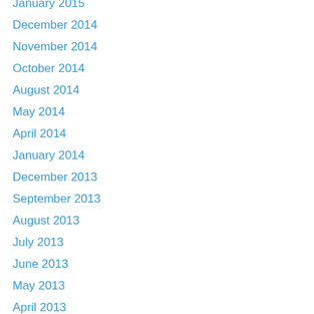January 2015
December 2014
November 2014
October 2014
August 2014
May 2014
April 2014
January 2014
December 2013
September 2013
August 2013
July 2013
June 2013
May 2013
April 2013
March 2013
February 2013
January 2013
December 2012
November 2012
October 2012